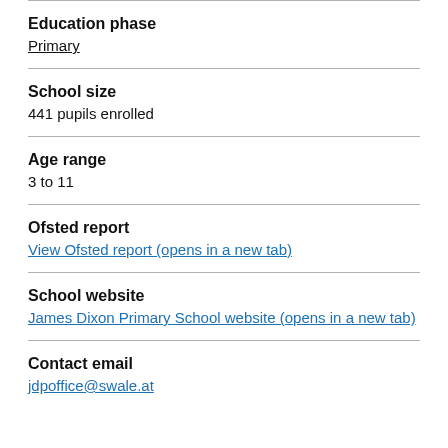Education phase
Primary
School size
441 pupils enrolled
Age range
3 to 11
Ofsted report
View Ofsted report (opens in a new tab)
School website
James Dixon Primary School website (opens in a new tab)
Contact email
jdpoffice@swale.at